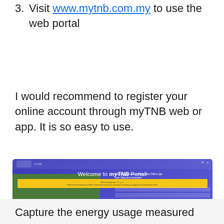3. Visit www.mytnb.com.my to use the web portal
I would recommend to register your online account through myTNB web or app. It is so easy to use.
[Figure (screenshot): Screenshot of the myTNB web portal homepage showing 'Welcome to myTNB Portal!' headline, a yellow notification bar, login fields, and an Announcement section at the bottom]
Capture the energy usage measured